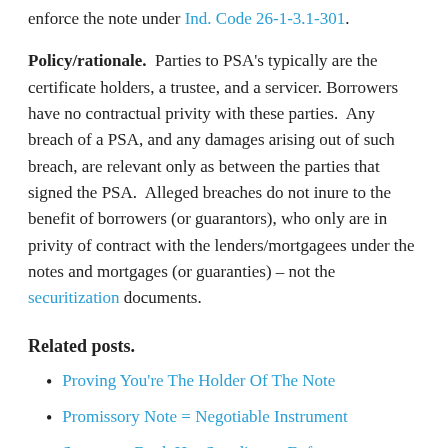enforce the note under Ind. Code 26-1-3.1-301.
Policy/rationale.  Parties to PSA’s typically are the certificate holders, a trustee, and a servicer.  Borrowers have no contractual privity with these parties.  Any breach of a PSA, and any damages arising out of such breach, are relevant only as between the parties that signed the PSA.  Alleged breaches do not inure to the benefit of borrowers (or guarantors), who only are in privity of contract with the lenders/mortgagees under the notes and mortgages (or guaranties) – not the securitization documents.
Related posts.
Proving You’re The Holder Of The Note
Promissory Note = Negotiable Instrument
Successor Bank Has Standing to Enforce